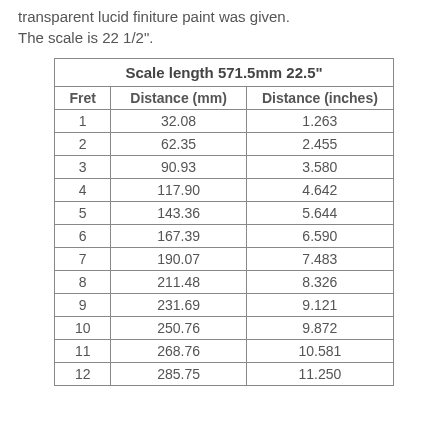Fret references are drawn on the wood, before the transparent lucid finiture paint was given. The scale is 22 1/2".
| Fret | Distance (mm) | Distance (inches) |
| --- | --- | --- |
| 1 | 32.08 | 1.263 |
| 2 | 62.35 | 2.455 |
| 3 | 90.93 | 3.580 |
| 4 | 117.90 | 4.642 |
| 5 | 143.36 | 5.644 |
| 6 | 167.39 | 6.590 |
| 7 | 190.07 | 7.483 |
| 8 | 211.48 | 8.326 |
| 9 | 231.69 | 9.121 |
| 10 | 250.76 | 9.872 |
| 11 | 268.76 | 10.581 |
| 12 | 285.75 | 11.250 |